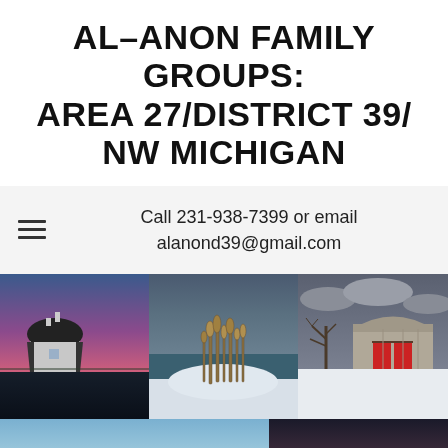AL-ANON FAMILY GROUPS: AREA 27/DISTRICT 39/ NW MICHIGAN
Call 231-938-7399 or email alanond39@gmail.com
[Figure (photo): Collection of 5 Northwest Michigan landscape photos: white barn at purple/pink sunset, snowy lakeshore with grasses, weathered barn with red doors in winter snow, calm blue-green lake shore with lighthouse, orange/red sunrise over horizon]